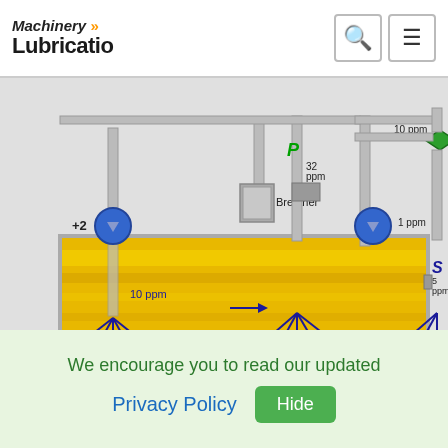Machinery Lubricati
[Figure (engineering-diagram): Schematic diagram of primary and secondary oil sampling port locations in a circulating oil system. Shows a reservoir tank filled with oil (yellow), with vertical pipes/tubes entering from the top. Labels show contamination levels: +2 (left), 10 ppm (top center-right), 32 ppm (center), 1 ppm (right of center), 10 ppm (inside tank left), 5 ppm (right side), 100 ppm (bottom center-right). Components labeled: Breather (top center-left), P (pump, center), S (sampling ports, right side and bottom). Blue circular valves and a green diamond valve are shown. Blue arrows inside tank indicate oil flow patterns.]
Examples of primary and secondary sampling port locations in a circulating oil system
Depending on the criticality of the machine or how poorly it is
We encourage you to read our updated Privacy Policy Hide